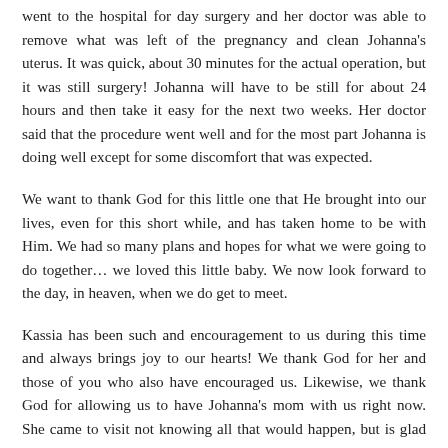went to the hospital for day surgery and her doctor was able to remove what was left of the pregnancy and clean Johanna's uterus. It was quick, about 30 minutes for the actual operation, but it was still surgery! Johanna will have to be still for about 24 hours and then take it easy for the next two weeks. Her doctor said that the procedure went well and for the most part Johanna is doing well except for some discomfort that was expected.
We want to thank God for this little one that He brought into our lives, even for this short while, and has taken home to be with Him. We had so many plans and hopes for what we were going to do together… we loved this little baby. We now look forward to the day, in heaven, when we do get to meet.
Kassia has been such and encouragement to us during this time and always brings joy to our hearts! We thank God for her and those of you who also have encouraged us. Likewise, we thank God for allowing us to have Johanna's mom with us right now. She came to visit not knowing all that would happen, but is glad to be able to help us during this time.
[Figure (photo): Partial photo visible at bottom of page, appears to be a personal photograph]